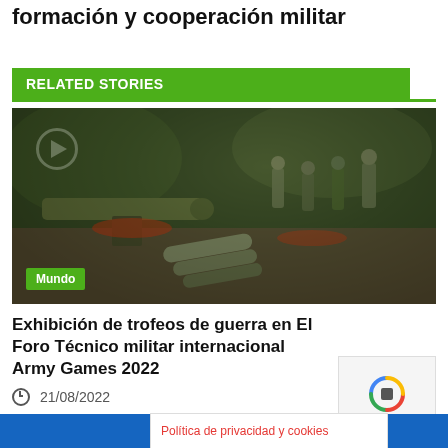formación y cooperación militar
RELATED STORIES
[Figure (photo): Military exhibition showing weapon systems and military personnel at an international forum, with a play button overlay and 'Mundo' category tag]
Exhibición de trofeos de guerra en El Foro Técnico militar internacional Army Games 2022
21/08/2022
Política de privacidad y cookies